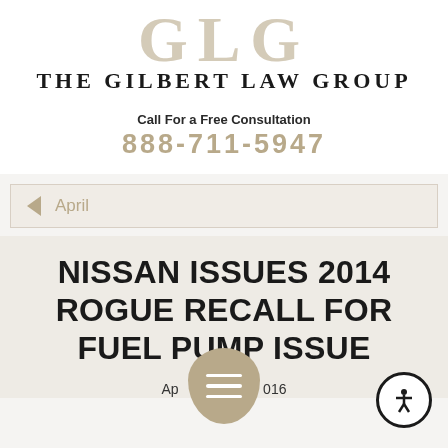[Figure (logo): The Gilbert Law Group logo with GLG monogram in tan/gold and firm name in black serif capital letters]
Call For a Free Consultation
888-711-5947
April
NISSAN ISSUES 2014 ROGUE RECALL FOR FUEL PUMP ISSUE
April 2016